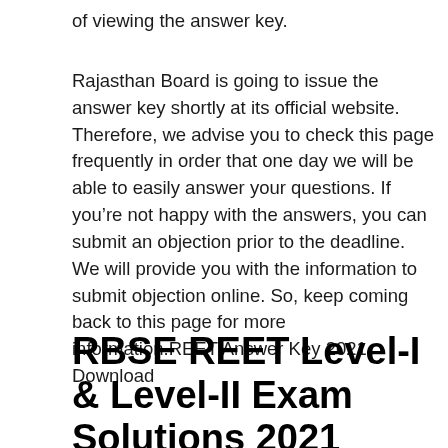of viewing the answer key.
Rajasthan Board is going to issue the answer key shortly at its official website. Therefore, we advise you to check this page frequently in order that one day we will be able to easily answer your questions. If you're not happy with the answers, you can submit an objection prior to the deadline. We will provide you with the information to submit objection online. So, keep coming back to this page for more information.REET Answer Key 2021 Download
RBSE REET Level-I & Level-II Exam Solutions 2021 Details